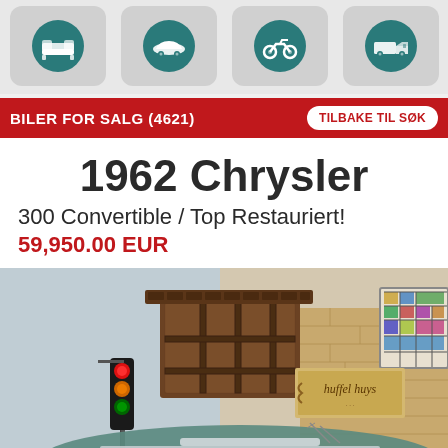[Figure (other): Four navigation icon buttons: bed/furniture, car, motorcycle, truck — teal icons on gray rounded rectangle buttons]
BILER FOR SALG (4621)   TILBAKE TIL SØK
1962 Chrysler
300 Convertible / Top Restauriert!
59,950.00 EUR
[Figure (photo): Photo of a 1962 Chrysler 300 Convertible inside what appears to be a themed diorama or movie set with brick buildings, a traffic light, and decorative shop fronts including a sign reading 'Huffel Huys']